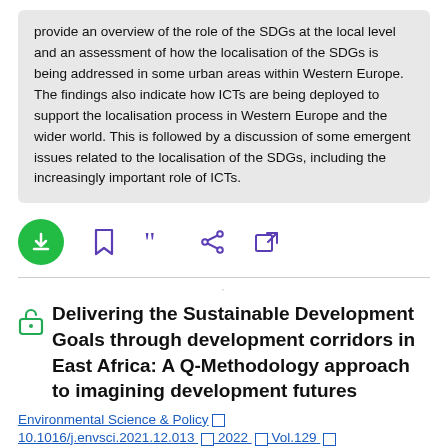provide an overview of the role of the SDGs at the local level and an assessment of how the localisation of the SDGs is being addressed in some urban areas within Western Europe. The findings also indicate how ICTs are being deployed to support the localisation process in Western Europe and the wider world. This is followed by a discussion of some emergent issues related to the localisation of the SDGs, including the increasingly important role of ICTs.
[Figure (infographic): Action bar with download (green circle with down arrow), bookmark, cite (quotation marks), share, and external link icons in purple]
Delivering the Sustainable Development Goals through development corridors in East Africa: A Q-Methodology approach to imagining development futures
Environmental Science & Policy  2022  Vol.129